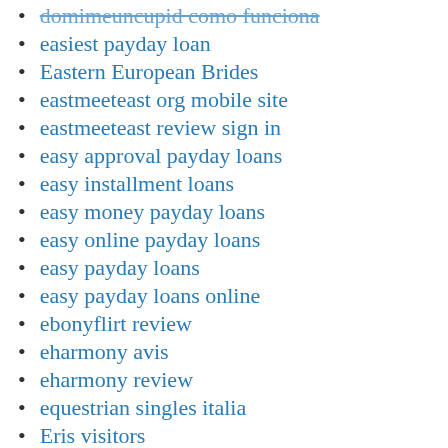domimeuncupid como funciona
easiest payday loan
Eastern European Brides
eastmeeteast org mobile site
eastmeeteast review sign in
easy approval payday loans
easy installment loans
easy money payday loans
easy online payday loans
easy payday loans
easy payday loans online
ebonyflirt review
eharmony avis
eharmony review
equestrian singles italia
Eris visitors
Essay Writer